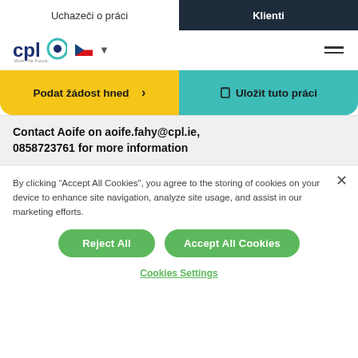Uchazeči o práci | Klienti
[Figure (logo): CPL Work The Future logo with Czech flag dropdown and hamburger menu]
Podat žádost hned ›
🔖 Uložit tuto práci
Contact Aoife on aoife.fahy@cpl.ie, 0858723761 for more information
By clicking "Accept All Cookies", you agree to the storing of cookies on your device to enhance site navigation, analyze site usage, and assist in our marketing efforts.
Reject All
Accept All Cookies
Cookies Settings